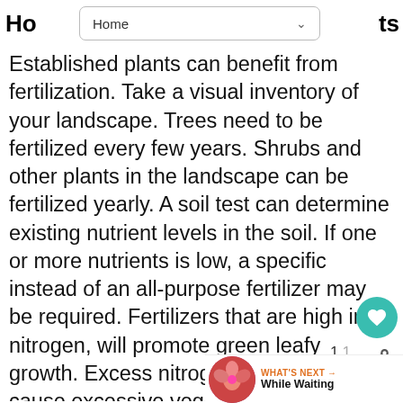Ho...ts
[Figure (screenshot): Dropdown menu UI element showing 'Home' with a downward chevron arrow, inside a rounded rectangle border.]
Established plants can benefit from fertilization. Take a visual inventory of your landscape. Trees need to be fertilized every few years. Shrubs and other plants in the landscape can be fertilized yearly. A soil test can determine existing nutrient levels in the soil. If one or more nutrients is low, a specific instead of an all-purpose fertilizer may be required. Fertilizers that are high in N, nitrogen, will promote green leafy growth. Excess nitrogen in the soil can cause excessive vegetative growth on plants at the expense of flower bud development. It is best to avoid fertilizing in the growing season. Applications made at that time can force lush vegetative growth that...